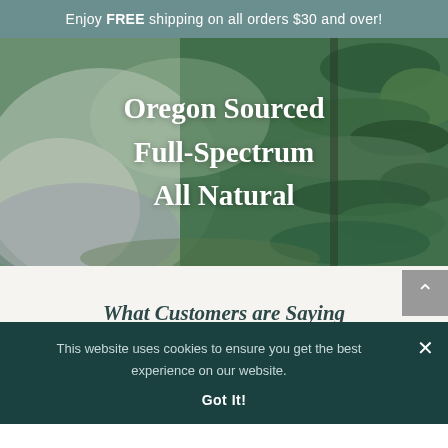Enjoy FREE shipping on all orders $30 and over!
[Figure (photo): Close-up photo of green fir tree branches on a blurred natural background, with overlay text: Oregon Sourced, Full-Spectrum, All Natural]
Oregon Sourced
Full-Spectrum
All Natural
What Customers are Saying
This website uses cookies to ensure you get the best experience on our website.
Got It!